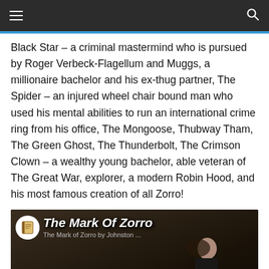Navigation bar with hamburger menu and search icon
Black Star – a criminal mastermind who is pursued by Roger Verbeck-Flagellum and Muggs, a millionaire bachelor and his ex-thug partner, The Spider – an injured wheel chair bound man who used his mental abilities to run an international crime ring from his office, The Mongoose, Thubway Tham, The Green Ghost, The Thunderbolt, The Crimson Clown – a wealthy young bachelor, able veteran of The Great War, explorer, a modern Robin Hood, and his most famous creation of all Zorro!
[Figure (screenshot): Video thumbnail for 'The Mark Of Zorro by Johnston...' showing the title in bold italic text with a book icon logo and a figure of Zorro in the lower portion]